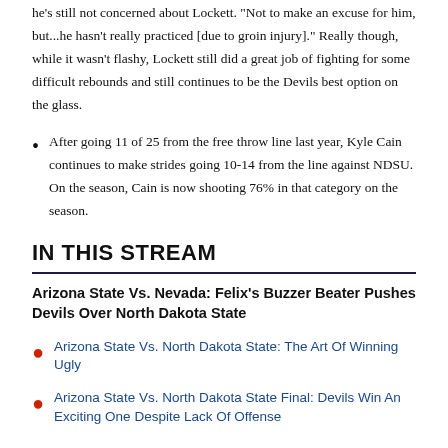he's still not concerned about Lockett. "Not to make an excuse for him, but...he hasn't really practiced [due to groin injury]." Really though, while it wasn't flashy, Lockett still did a great job of fighting for some difficult rebounds and still continues to be the Devils best option on the glass.
After going 11 of 25 from the free throw line last year, Kyle Cain continues to make strides going 10-14 from the line against NDSU. On the season, Cain is now shooting 76% in that category on the season.
IN THIS STREAM
Arizona State Vs. Nevada: Felix's Buzzer Beater Pushes Devils Over North Dakota State
Arizona State Vs. North Dakota State: The Art Of Winning Ugly
Arizona State Vs. North Dakota State Final: Devils Win An Exciting One Despite Lack Of Offense